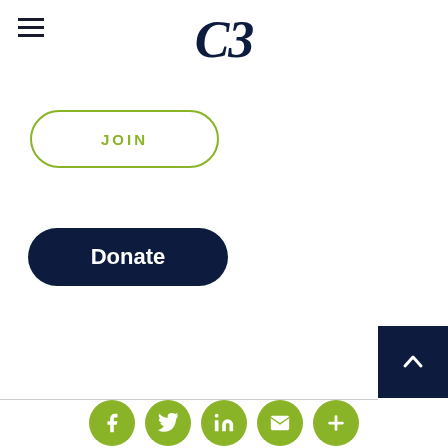[Figure (other): Hamburger menu icon (three horizontal lines) in top left corner]
C3
[Figure (other): JOIN button with rounded border in olive/lime green color]
[Figure (other): Donate button with dark navy background and rounded corners]
[Figure (other): Back to top button (dark navy square with upward chevron arrow) at bottom right]
[Figure (other): Footer social media icons: Facebook, Twitter, LinkedIn, Email, Plus — all in lime green circles]